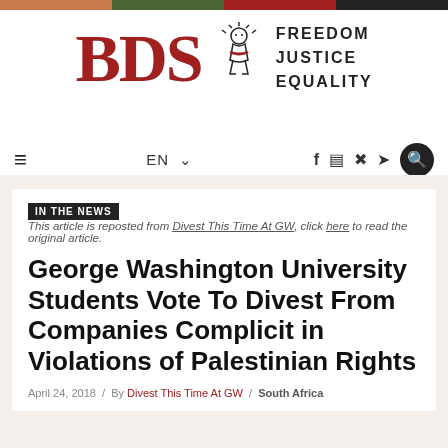[Figure (logo): BDS Freedom Justice Equality logo with stylized figure]
EN  f  [instagram]  [rss]  [twitter]  [search]
IN THE NEWS  This article is reposted from Divest This Time At GW, click here to read the original article.
George Washington University Students Vote To Divest From Companies Complicit in Violations of Palestinian Rights
April 24, 2018 / By Divest This Time At GW / South Africa